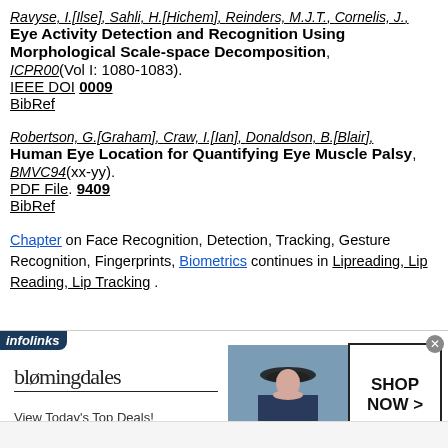Ravyse, I.[Ilse], Sahli, H.[Hichem], Reinders, M.J.T., Cornelis, J., Eye Activity Detection and Recognition Using Morphological Scale-space Decomposition, ICPR00(Vol I: 1080-1083). IEEE DOI 0009 BibRef
Robertson, G.[Graham], Craw, I.[Ian], Donaldson, B.[Blair], Human Eye Location for Quantifying Eye Muscle Palsy, BMVC94(xx-yy). PDF File. 9409 BibRef
Chapter on Face Recognition, Detection, Tracking, Gesture Recognition, Fingerprints, Biometrics continues in Lipreading, Lip Reading, Lip Tracking.
[Figure (screenshot): Advertisement banner for Bloomingdale's showing 'View Today's Top Deals!' with a model wearing a hat and a 'SHOP NOW >' button, with an infolinks tab and close button.]